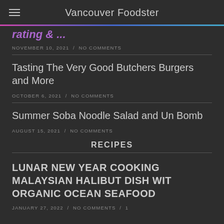Vancouver Foodster
NOVEMBER 10, 2021  /  NO COMMENTS
Tasting The Very Good Butchers Burgers and More
OCTOBER 6, 2021  /  NO COMMENTS
Summer Soba Noodle Salad and Un Bomb
AUGUST 15, 2021  /  NO COMMENTS
RECIPES
LUNAR NEW YEAR COOKING MALAYSIAN HALIBUT DISH WIT ORGANIC OCEAN SEAFOOD
JANUARY 27, 2022  /  NO COMMENTS  /  1